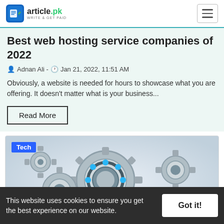article.pk - WRITE & GET PAID
Best web hosting service companies of 2022
Adnan Ali - Jan 21, 2022, 11:51 AM
Obviously, a website is needed for hours to showcase what you are offering. It doesn't matter what is your business...
Read More
[Figure (illustration): WordPress logo with gears illustration, blue 3D WORDPRESS text surrounded by metallic cogs. A 'Tech' badge is shown in the top left corner.]
This website uses cookies to ensure you get the best experience on our website.
Got it!